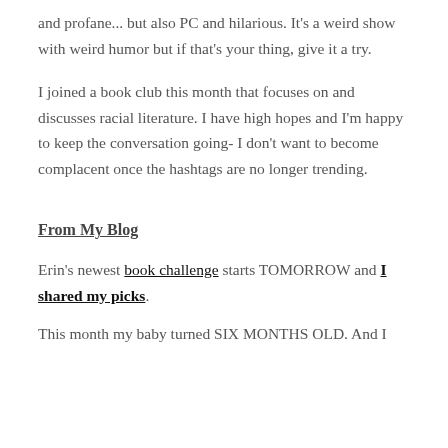and profane... but also PC and hilarious. It's a weird show with weird humor but if that's your thing, give it a try.
I joined a book club this month that focuses on and discusses racial literature. I have high hopes and I'm happy to keep the conversation going- I don't want to become complacent once the hashtags are no longer trending.
From My Blog
Erin's newest book challenge starts TOMORROW and I shared my picks.
This month my baby turned SIX MONTHS OLD. And I